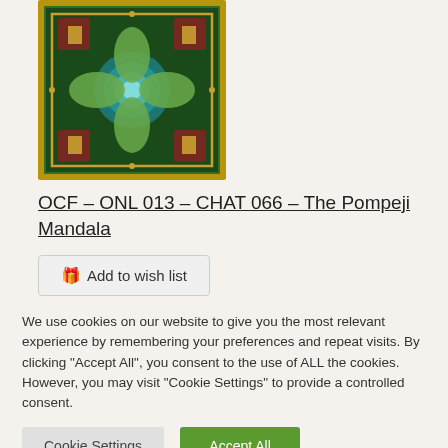[Figure (illustration): A framed mandala artwork with intricate geometric and floral patterns in green, red, gold, and teal colors, resembling the Pompeji Mandala design.]
OCF – ONL 013 – CHAT 066 – The Pompeji Mandala
Add to wish list
We use cookies on our website to give you the most relevant experience by remembering your preferences and repeat visits. By clicking "Accept All", you consent to the use of ALL the cookies. However, you may visit "Cookie Settings" to provide a controlled consent.
Cookie Settings
Accept All